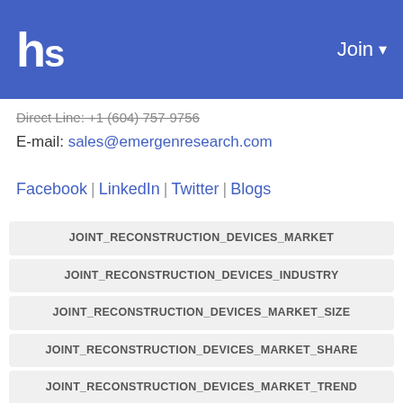hs  Join
Direct Line: +1 (604) 757-9756
E-mail: sales@emergenresearch.com
Facebook | LinkedIn | Twitter | Blogs
JOINT_RECONSTRUCTION_DEVICES_MARKET
JOINT_RECONSTRUCTION_DEVICES_INDUSTRY
JOINT_RECONSTRUCTION_DEVICES_MARKET_SIZE
JOINT_RECONSTRUCTION_DEVICES_MARKET_SHARE
JOINT_RECONSTRUCTION_DEVICES_MARKET_TREND
JOINT_RECONSTRUCTION_DEVICES_MARKET_FORECAST
JOINT_RECONSTRUCTION_DEVICES_MARKET_GRO